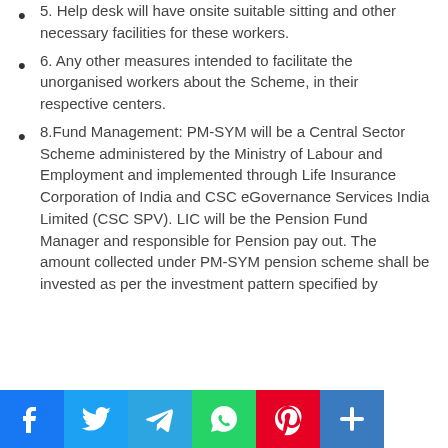5. Help desk will have onsite suitable sitting and other necessary facilities for these workers.
6. Any other measures intended to facilitate the unorganised workers about the Scheme, in their respective centers.
8.Fund Management: PM-SYM will be a Central Sector Scheme administered by the Ministry of Labour and Employment and implemented through Life Insurance Corporation of India and CSC eGovernance Services India Limited (CSC SPV). LIC will be the Pension Fund Manager and responsible for Pension pay out. The amount collected under PM-SYM pension scheme shall be invested as per the investment pattern specified by GoI.
[Figure (other): Social media sharing bar with Facebook, Twitter, Telegram, WhatsApp, Pinterest, and a plus/more button]